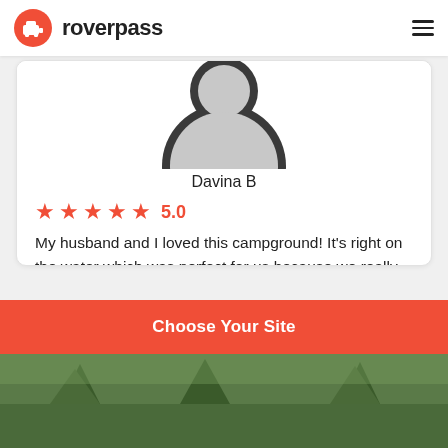roverpass
[Figure (illustration): Circular avatar placeholder with dark gray ring shape, partially cropped at top]
Davina B
★★★★★ 5.0
My husband and I loved this campground! It's right on the water which was perfect for us because we really just wanted to spend a few days boating,
Nearby Campgrounds
Choose Your Site
[Figure (photo): Bottom strip showing outdoor/nature scene, partially visible]